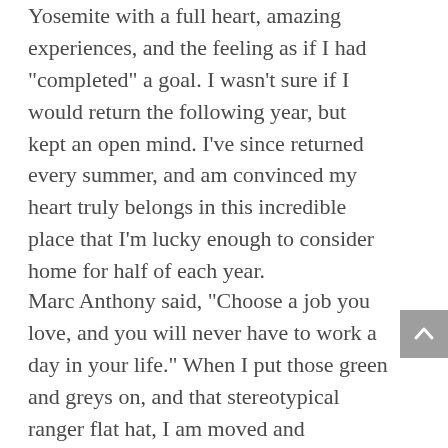Yosemite with a full heart, amazing experiences, and the feeling as if I had “completed” a goal. I wasn’t sure if I would return the following year, but kept an open mind. I’ve since returned every summer, and am convinced my heart truly belongs in this incredible place that I’m lucky enough to consider home for half of each year.
Marc Anthony said, “Choose a job you love, and you will never have to work a day in your life.” When I put those green and greys on, and that stereotypical ranger flat hat, I am moved and motivated to share my passion for our wild places with everyone that I can. Working as a ranger in Yosemite has brought